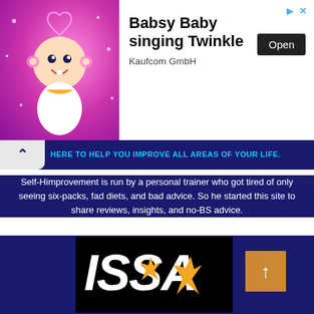[Figure (screenshot): Advertisement banner for 'Babsy Baby singing Twinkle' by Kaufcom GmbH, showing an animated baby character on a pink sparkle background, with an 'Open' button and close/skip arrows.]
HERE TO HELP YOU IMPROVE ALL AREAS OF YOUR LIFE.
Self-Himprovement is run by a personal trainer who got tired of only seeing six-packs, fad diets, and bad advice. So he started this site to share reviews, insights, and no-BS advice.
[Figure (logo): ISSA logo — white bold italic text 'ISSA' with a yellow lightning bolt/star accent mark, on a black background.]